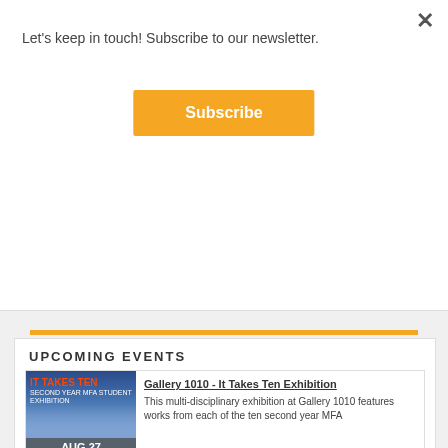Let's keep in touch! Subscribe to our newsletter.
Subscribe
UPCOMING EVENTS
[Figure (photo): IT Takes Ten - Second Year MFA Student Exhibition poster with group of students. Date badge: AUG 27]
Gallery 1010 - It Takes Ten Exhibition
This multi-disciplinary exhibition at Gallery 1010 features works from each of the ten second year MFA